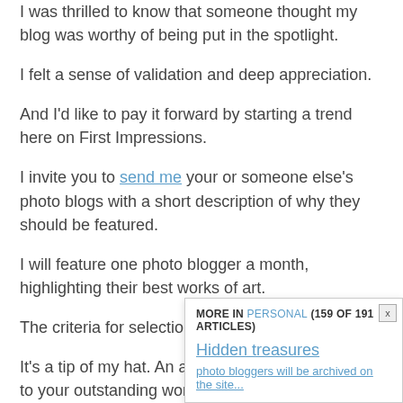I was thrilled to know that someone thought my blog was worthy of being put in the spotlight.
I felt a sense of validation and deep appreciation.
And I'd like to pay it forward by starting a trend here on First Impressions.
I invite you to send me your or someone else's photo blogs with a short description of why they should be featured.
I will feature one photo blogger a month, highlighting their best works of art.
The criteria for selection? Sole subjectivity.
It's a tip of my hat. An acknowledging nod. A salute to your outstanding work.
A celebration of your images—which are worth a thousand words.
All featured photo bloggers will be archived on the site...
MORE IN PERSONAL (159 OF 191 ARTICLES)
Hidden treasures
photo bloggers will be archived on the site...